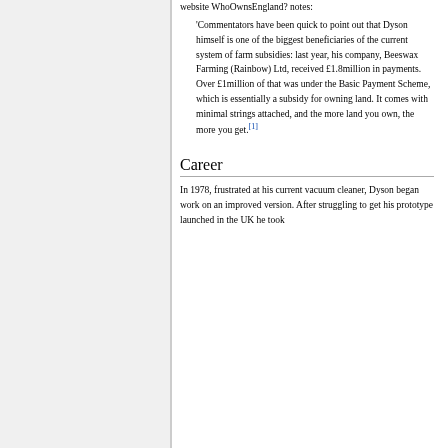website WhoOwnsEngland? notes:
'Commentators have been quick to point out that Dyson himself is one of the biggest beneficiaries of the current system of farm subsidies: last year, his company, Beeswax Farming (Rainbow) Ltd, received £1.8million in payments. Over £1million of that was under the Basic Payment Scheme, which is essentially a subsidy for owning land. It comes with minimal strings attached, and the more land you own, the more you get.[1]
Career
In 1978, frustrated at his current vacuum cleaner, Dyson began work on an improved version. After struggling to get his prototype launched in the UK he took